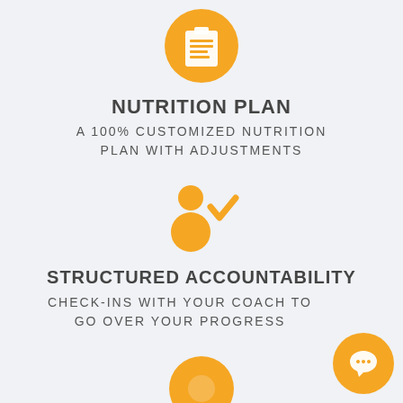[Figure (infographic): Orange circle icon with a clipboard checklist, representing a nutrition plan]
NUTRITION PLAN
A 100% CUSTOMIZED NUTRITION PLAN WITH ADJUSTMENTS
[Figure (infographic): Orange icon of a person silhouette with a checkmark, representing structured accountability]
STRUCTURED ACCOUNTABILITY
CHECK-INS WITH YOUR COACH TO GO OVER YOUR PROGRESS
[Figure (infographic): Orange circle icon with a speech/chat bubble, positioned bottom right, representing coaching communication]